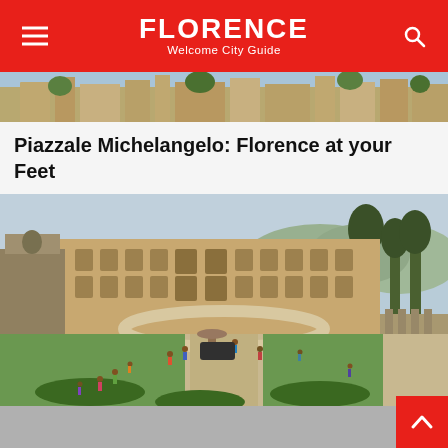FLORENCE Welcome City Guide
[Figure (photo): Top portion of a Florence cityscape photo, partially visible]
Piazzale Michelangelo: Florence at your Feet
[Figure (photo): Palazzo Pitti and Giardini di Boboli garden courtyard with visitors walking on paths, green lawns, and the palace facade in the background]
Palazzo Pitti & Giardini di Boboli